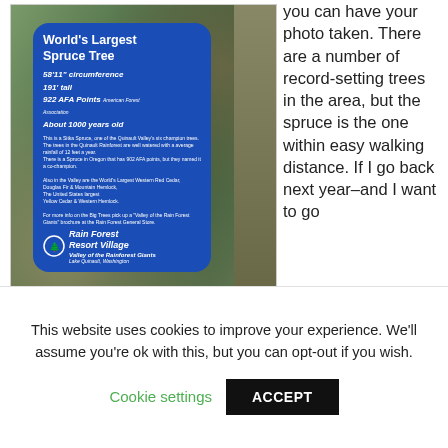[Figure (photo): Photo of a blue sign reading 'World's Largest Spruce Tree' with details: 58'11" circumference, 191' tall, 922 AFA Points, About 1000 years old, with text about Sitka Spruce and Rain Forest Resort Village branding. Sign is surrounded by moss-covered rocks.]
you can have your photo taken. There are a number of record-setting trees in the area, but the spruce is the one within easy walking distance. If I go back next year–and I want to go
About the trees...
This website uses cookies to improve your experience. We'll assume you're ok with this, but you can opt-out if you wish.
Cookie settings
ACCEPT